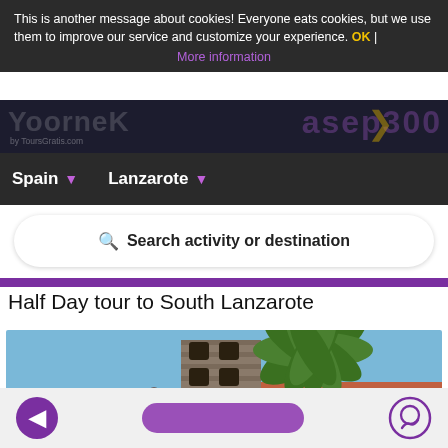This is another message about cookies! Everyone eats cookies, but we use them to improve our service and customize your experience. OK | More information
Spain ▾   Lanzarote ▾
🔍 Search activity or destination
Half Day tour to South Lanzarote
[Figure (photo): Photo of a white Spanish building with a stone bell tower and large palm tree against a blue sky, typical Lanzarote architecture.]